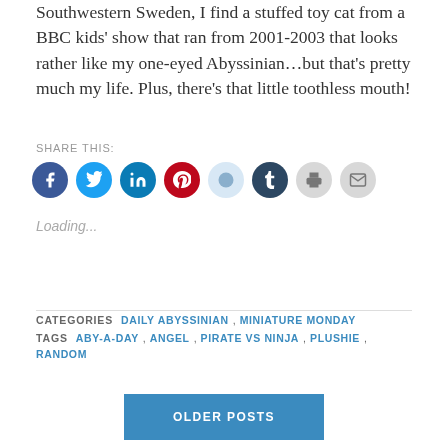Southwestern Sweden, I find a stuffed toy cat from a BBC kids' show that ran from 2001-2003 that looks rather like my one-eyed Abyssinian…but that's pretty much my life. Plus, there's that little toothless mouth!
SHARE THIS:
[Figure (infographic): Row of 8 social sharing icon circles: Facebook (blue), Twitter (light blue), LinkedIn (dark cyan), Pinterest (red), Reddit (light blue), Tumblr (dark navy), Print (light gray), Email (light gray)]
Loading...
CATEGORIES  DAILY ABYSSINIAN , MINIATURE MONDAY
TAGS  ABY-A-DAY , ANGEL , PIRATE VS NINJA , PLUSHIE , RANDOM
OLDER POSTS